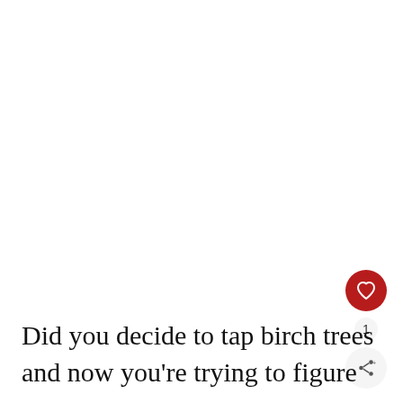[Figure (other): Red circular heart/like button icon with white heart symbol, a count badge showing '1', and a circular share button with a share icon below it, positioned on the right side of the page]
Did you decide to tap birch trees and now you're trying to figure